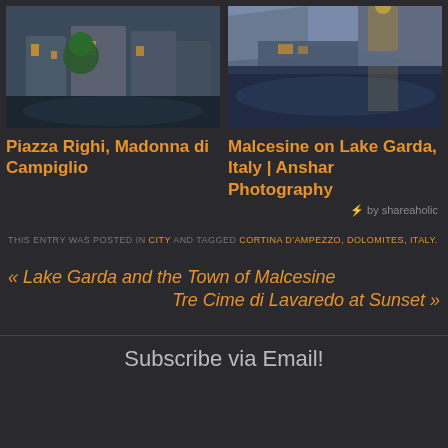[Figure (photo): Night/twilight photo of Piazza Righi, Madonna di Campiglio - alpine buildings with lights]
[Figure (photo): Dusk photo of Malcesine on Lake Garda, Italy - castle and town reflected in calm lake water with mountains]
Piazza Righi, Madonna di Campiglio
Malcesine on Lake Garda, Italy | Anshar Photography
⚡ by shareaholic
THIS ENTRY WAS POSTED IN CITY AND TAGGED CORTINA D'AMPEZZO, DOLOMITES, ITALY.
« Lake Garda and the Town of Malcesine
Tre Cime di Lavaredo at Sunset »
Subscribe via Email!